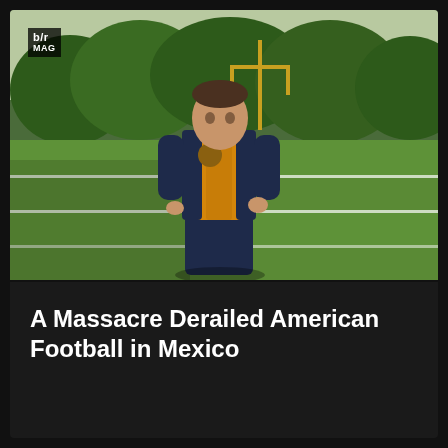[Figure (photo): A man wearing a navy blue and gold/yellow varsity letterman jacket stands on a green football field with yard lines visible. A yellow football goalpost is visible in the background along with trees. The b/r MAG logo appears in the upper left corner of the photo.]
A Massacre Derailed American Football in Mexico